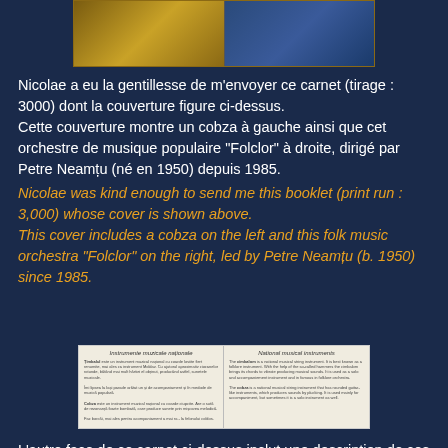[Figure (photo): Booklet cover image showing a cobza on the left side and the folk music orchestra Folclor on the right side]
Nicolae a eu la gentillesse de m'envoyer ce carnet (tirage : 3000) dont la couverture figure ci-dessus.
Cette couverture montre un cobza à gauche ainsi que cet orchestre de musique populaire "Folclor" à droite, dirigé par Petre Neamțu (né en 1950) depuis 1985.
Nicolae was kind enough to send me this booklet (print run : 3,000) whose cover is shown above.
This cover includes a cobza on the left and this folk music orchestra "Folclor" on the right, led by Petre Neamțu (b. 1950) since 1985.
[Figure (photo): Interior page of booklet showing two columns of text in Moldavian and English describing national musical instruments: Țimbalul/The cimbalom on left and Cobza/The cobza on right]
L'autre face de ce carnet ci-dessus inclut une description de ces 2 instruments folkloriques, en moldave et en anglais.